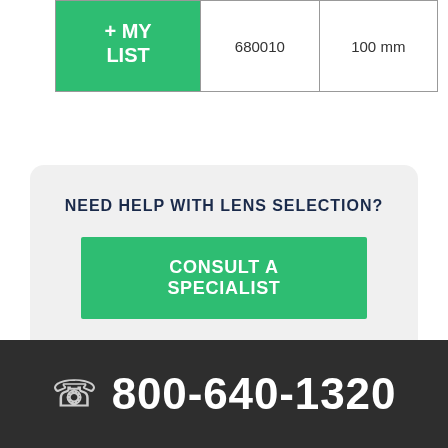|  | SKU | Size |
| --- | --- | --- |
| + MY LIST | 680010 | 100 mm |
NEED HELP WITH LENS SELECTION?
CONSULT A SPECIALIST
800-640-1320